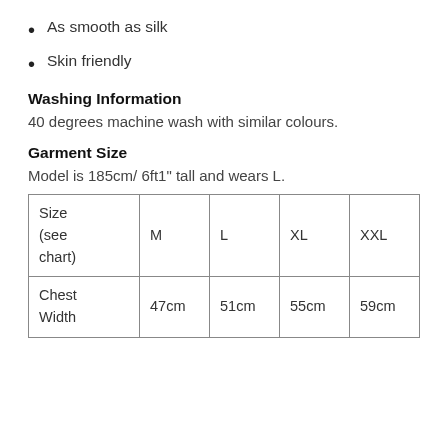As smooth as silk
Skin friendly
Washing Information
40 degrees machine wash with similar colours.
Garment Size
Model is 185cm/ 6ft1" tall and wears L.
| Size (see chart) | M | L | XL | XXL |
| --- | --- | --- | --- | --- |
| Chest Width | 47cm | 51cm | 55cm | 59cm |